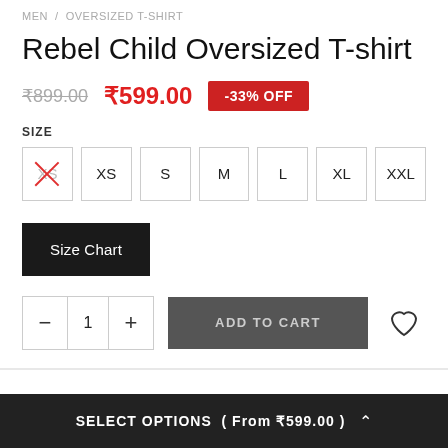MEN / OVERSIZED T-SHIRT
Rebel Child Oversized T-shirt
₹899.00  ₹599.00  -33% OFF
SIZE
XS (unavailable)  XS  S  M  L  XL  XXL
Size Chart
- 1 +  ADD TO CART
SELECT OPTIONS ( From ₹599.00 ) ^